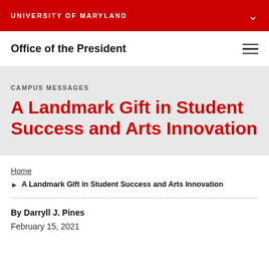UNIVERSITY OF MARYLAND
Office of the President
CAMPUS MESSAGES
A Landmark Gift in Student Success and Arts Innovation
Home
A Landmark Gift in Student Success and Arts Innovation
By Darryll J. Pines
February 15, 2021